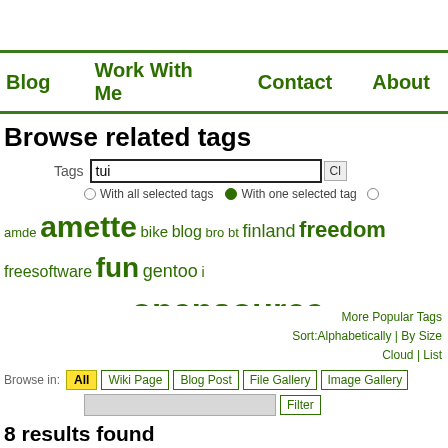Blog | Work With Me | Contact | About
Browse related tags
Tags: tui | With all selected tags | With one selected tag
amde amette bike blog bro bt finland freedom freesoftware fun gentoo i microformats music opensource party pueppi socialnetworking tech thiss web20 wgstollen
More Popular Tags
Sort:Alphabetically | By Size
Cloud | List
Browse in: All | Wiki Page | Blog Post | File Gallery | Image Gallery | Filter
8 results found
Carrying my alcohol home on sonic waves
blog post